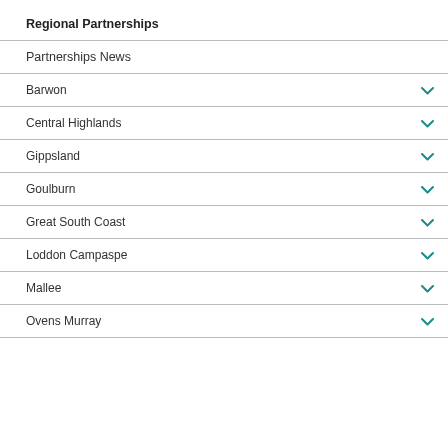Regional Partnerships
Partnerships News
Barwon
Central Highlands
Gippsland
Goulburn
Great South Coast
Loddon Campaspe
Mallee
Ovens Murray